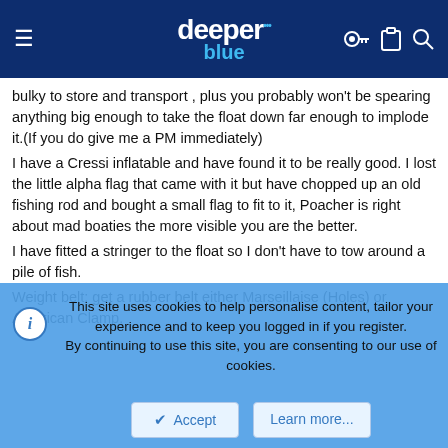deeper blue — navigation header with hamburger menu, logo, and icons
bulky to store and transport , plus you probably won't be spearing anything big enough to take the float down far enough to implode it.(If you do give me a PM immediately)
I have a Cressi inflatable and have found it to be really good. I lost the little alpha flag that came with it but have chopped up an old fishing rod and bought a small flag to fit to it, Poacher is right about mad boaties the more visible you are the better.
I have fitted a stringer to the float so I don't have to tow around a pile of fish.
Weight belt: get a rubber belt either Marseillaise (Holes) or American Clamp.
you don't want to be constantly readjusting your belt, not only is it annoying it is also dangerous not to know where the buckle is.
Knife: I am in two minds on this , A good spearfishing knife is a lovely thing and heartbreaking to lose. Sods law demands that the cheaper the
This site uses cookies to help personalise content, tailor your experience and to keep you logged in if you register.
By continuing to use this site, you are consenting to our use of cookies.